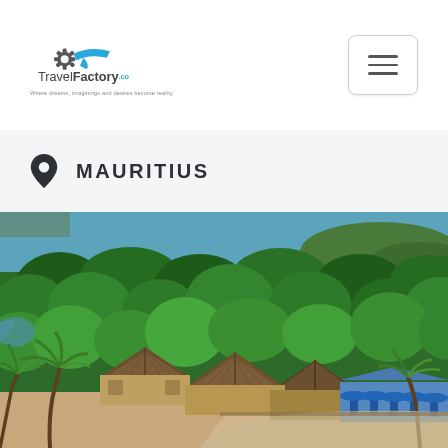TravelFactory.co.uk — Mauritius travel page header with logo and hamburger menu
MAURITIUS
[Figure (photo): Aerial view of a tropical beach resort in Mauritius, showing thatched-roof huts, dense palm trees and tropical vegetation, a beachside area with blue umbrellas/sunbeds, sandy beach, and turquoise ocean in the background.]